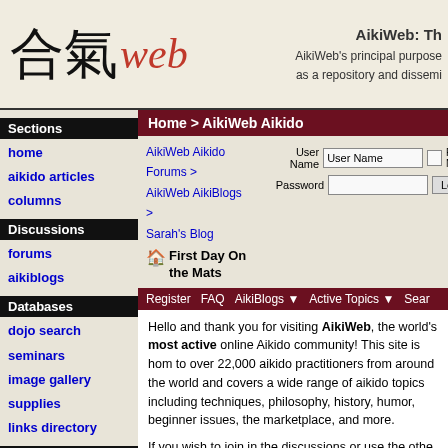AikiWeb: Th — AikiWeb's principal purpose as a repository and dissemi
[Figure (logo): AikiWeb logo with Japanese kanji characters and 'web' in red italic script]
Sections
home
aikido articles
columns
Discussions
forums
aikiblogs
Databases
dojo search
seminars
image gallery
supplies
links directory
Reviews
book reviews
Home > AikiWeb Aikido
AikiWeb Aikido Forums > AikiWeb AikiBlogs > Sarah's Blog
First Day On the Mats
Register   FAQ   AikiBlogs   Active Topics   Search
Hello and thank you for visiting AikiWeb, the world's most active online Aikido community! This site is home to over 22,000 aikido practitioners from around the world and covers a wide range of aikido topics including techniques, philosophy, history, humor, beginner issues, the marketplace, and more.
If you wish to join in the discussions or use the other advanced features available, you will need to register